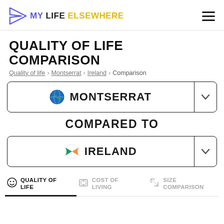MY LIFE ELSEWHERE
QUALITY OF LIFE COMPARISON
Quality of life › Montserrat › Ireland › Comparison
🌍 MONTSERRAT
COMPARED TO
🇮🇪 IRELAND
QUALITY OF LIFE  |  COST OF LIVING  |  SIZE COMPARISON